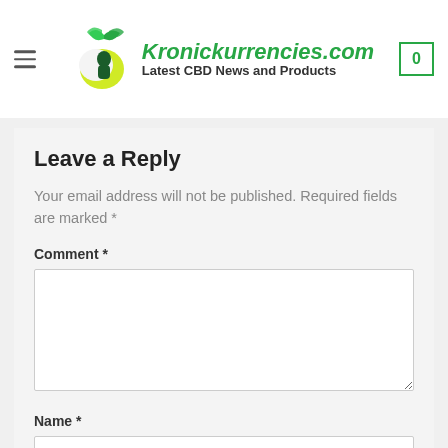From This Serious Condition
[Figure (logo): Kronickurrencies.com logo with green leaf and crescent moon design, tagline: Latest CBD News and Products]
Leave a Reply
Your email address will not be published. Required fields are marked *
Comment *
Name *
Email *